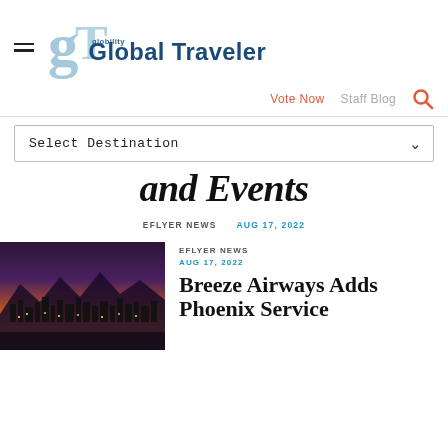Global Traveler
Vote Now   Staff Blog
Select Destination
and Events
EFLYER NEWS   AUG 17, 2022
[Figure (photo): City skyline at dusk with mountains in background, warm orange and purple tones]
EFLYER NEWS
AUG 17, 2022
Breeze Airways Adds Phoenix Service